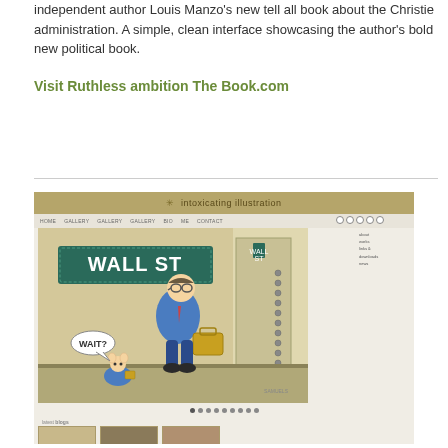independent author Louis Manzo's new tell all book about the Christie administration. A simple, clean interface showcasing the author's bold new political book.
Visit Ruthless ambition The Book.com
[Figure (screenshot): Screenshot of Intoxicating Illustration website showing a Wall Street cartoon illustration of a man in a blue suit with a briefcase looking at a small rat-like creature saying 'WAIT?', with a navigation bar, social icons, dot pagination, and blog thumbnails below.]